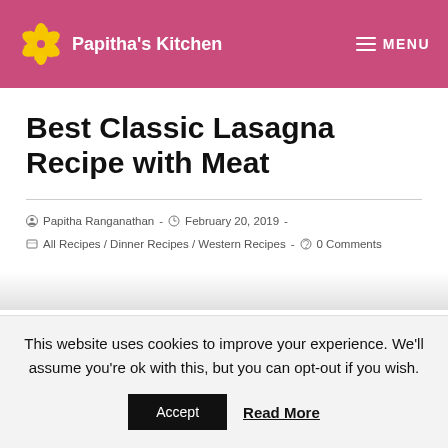Papitha's Kitchen  MENU
Best Classic Lasagna Recipe with Meat
Papitha Ranganathan  -  February 20, 2019  -  All Recipes / Dinner Recipes / Western Recipes  -  0 Comments
This website uses cookies to improve your experience. We'll assume you're ok with this, but you can opt-out if you wish.  Accept  Read More